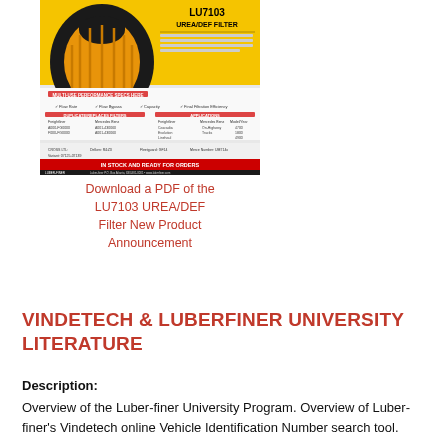[Figure (photo): Product sheet for LU7103 UREA/DEF Filter by Luber-finer, showing filter image, specifications, cross-reference data, applications, and 'In Stock and Ready for Orders' banner]
Download a PDF of the LU7103 UREA/DEF Filter New Product Announcement
VINDETECH & LUBERFINER UNIVERSITY LITERATURE
Description:
Overview of the Luber-finer University Program. Overview of Luber-finer's Vindetech online Vehicle Identification Number search tool.